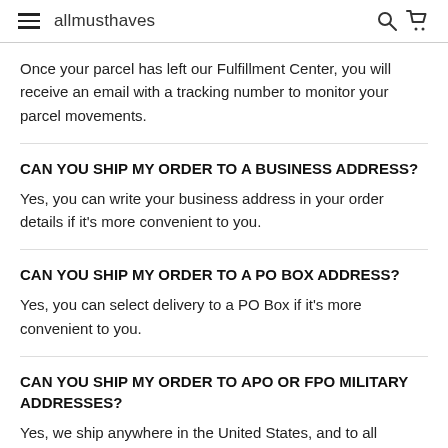allmusthaves
Once your parcel has left our Fulfillment Center, you will receive an email with a tracking number to monitor your parcel movements.
CAN YOU SHIP MY ORDER TO A BUSINESS ADDRESS?
Yes, you can write your business address in your order details if it's more convenient to you.
CAN YOU SHIP MY ORDER TO A PO BOX ADDRESS?
Yes, you can select delivery to a PO Box if it's more convenient to you.
CAN YOU SHIP MY ORDER TO APO OR FPO MILITARY ADDRESSES?
Yes, we ship anywhere in the United States, and to all